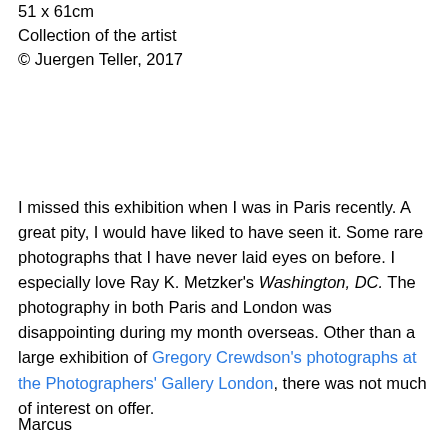51 x 61cm
Collection of the artist
© Juergen Teller, 2017
I missed this exhibition when I was in Paris recently. A great pity, I would have liked to have seen it. Some rare photographs that I have never laid eyes on before. I especially love Ray K. Metzker's Washington, DC. The photography in both Paris and London was disappointing during my month overseas. Other than a large exhibition of Gregory Crewdson's photographs at the Photographers' Gallery London, there was not much of interest on offer.
Marcus